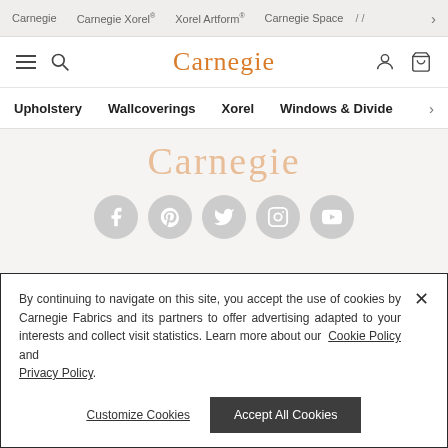Carnegie | Carnegie Xorel | Xorel Artform | Carnegie Space
[Figure (logo): Carnegie logo in orange serif font]
Upholstery | Wallcoverings | Xorel | Windows & Dividers
[Figure (logo): Carnegie logo large faded orange, with social media icons: Facebook, Pinterest, Twitter, Instagram, YouTube]
By continuing to navigate on this site, you accept the use of cookies by Carnegie Fabrics and its partners to offer advertising adapted to your interests and collect visit statistics. Learn more about our Cookie Policy and Privacy Policy.
Customize Cookies   Accept All Cookies